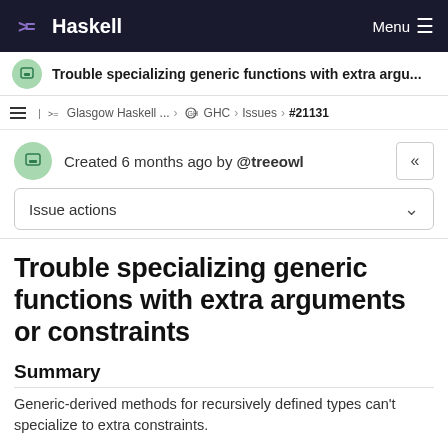Haskell
Trouble specializing generic functions with extra argu...
Glasgow Haskell ... > GHC > Issues > #21131
Created 6 months ago by @treeowl
Issue actions
Trouble specializing generic functions with extra arguments or constraints
Summary
Generic-derived methods for recursively defined types can't specialize to extra constraints.